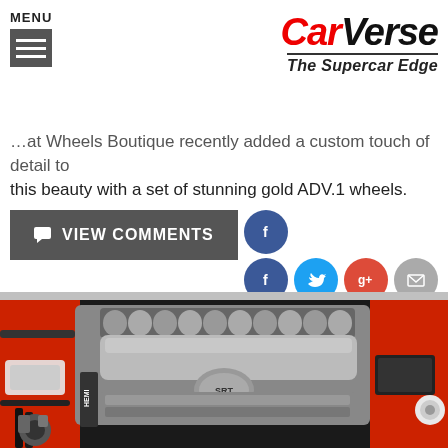CarVerse – The Supercar Edge
…at Wheels Boutique recently added a custom touch of detail to this beauty with a set of stunning gold ADV.1 wheels.
VIEW COMMENTS
[Figure (screenshot): Social media sharing icons: Facebook (blue, top row), then Facebook, Twitter, Google+, and email icons in bottom row]
[Figure (photo): Close-up photo of a Dodge SRT Hellcat/Hemi supercharged V8 engine bay showing the distinctive supercharger intake manifold with HEMI badging, red valve covers, and silver intake runners]